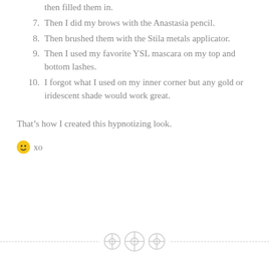then filled them in.
7. Then I did my brows with the Anastasia pencil.
8. Then brushed them with the Stila metals applicator.
9. Then I used my favorite YSL mascara on my top and bottom lashes.
10. I forgot what I used on my inner corner but any gold or iridescent shade would work great.
That’s how I created this hypnotizing look.
😊 xo